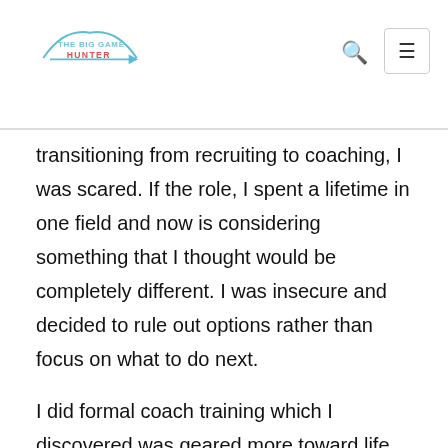THE BIG GAME HUNTER
transitioning from recruiting to coaching, I was scared. If the role, I spent a lifetime in one field and now is considering something that I thought would be completely different. I was insecure and decided to rule out options rather than focus on what to do next.
I did formal coach training which I discovered was geared more toward life coaching, something I discovered for most was pretty low-paying and extremely insecure. I also learned from coach training that schools